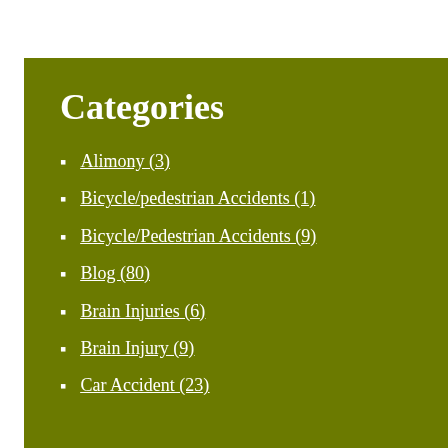Categories
Alimony (3)
Bicycle/pedestrian Accidents (1)
Bicycle/Pedestrian Accidents (9)
Blog (80)
Brain Injuries (6)
Brain Injury (9)
Car Accident (23)